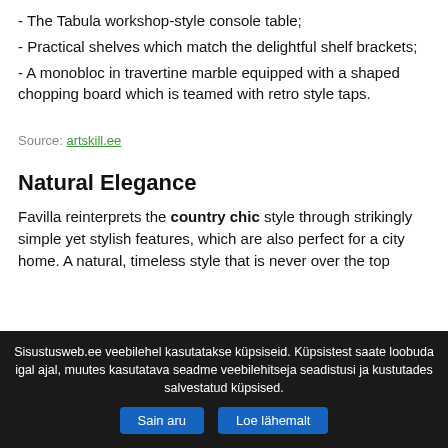- The Tabula workshop-style console table;
- Practical shelves which match the delightful shelf brackets;
- A monobloc in travertine marble equipped with a shaped chopping board which is teamed with retro style taps.
Source: artskill.ee
Natural Elegance
Favilla reinterprets the country chic style through strikingly simple yet stylish features, which are also perfect for a city home. A natural, timeless style that is never over the top
Sisustusweb.ee veebilehel kasutatakse küpsiseid. Küpsistest saate loobuda igal ajal, muutes kasutatava seadme veebilehitseja seadistusi ja kustutades salvestatud küpsised. Sain aru   Loe lähemalt